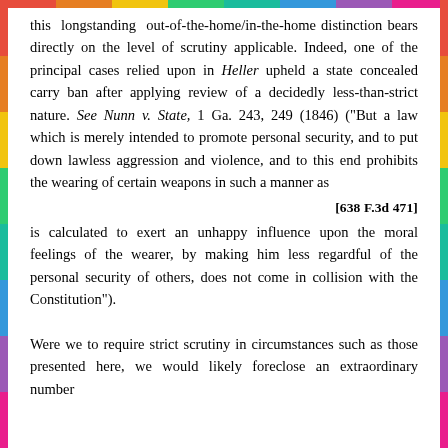this longstanding out-of-the-home/in-the-home distinction bears directly on the level of scrutiny applicable. Indeed, one of the principal cases relied upon in Heller upheld a state concealed carry ban after applying review of a decidedly less-than-strict nature. See Nunn v. State, 1 Ga. 243, 249 (1846) ("But a law which is merely intended to promote personal security, and to put down lawless aggression and violence, and to this end prohibits the wearing of certain weapons in such a manner as
[638 F.3d 471]
is calculated to exert an unhappy influence upon the moral feelings of the wearer, by making him less regardful of the personal security of others, does not come in collision with the Constitution").
Were we to require strict scrutiny in circumstances such as those presented here, we would likely foreclose an extraordinary number